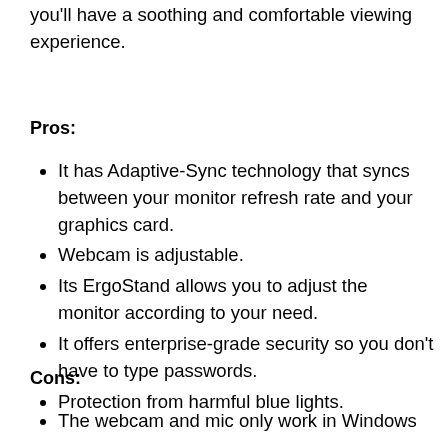you'll have a soothing and comfortable viewing experience.
Pros:
It has Adaptive-Sync technology that syncs between your monitor refresh rate and your graphics card.
Webcam is adjustable.
Its ErgoStand allows you to adjust the monitor according to your need.
It offers enterprise-grade security so you don't have to type passwords.
Protection from harmful blue lights.
Cons:
The webcam and mic only work in Windows